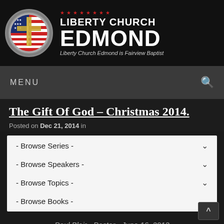[Figure (logo): Liberty Church Edmond logo with circular emblem showing American flag and cross, stars above, text LIBERTY CHURCH EDMOND and tagline]
MENU
The Gift Of God – Christmas 2014.
Posted on Dec 21, 2014 in
- Browse Series -
- Browse Speakers -
- Browse Topics -
- Browse Books -
Paul Blair - Pastor - June 16, 2013
Sold Out Or Sell Out: A